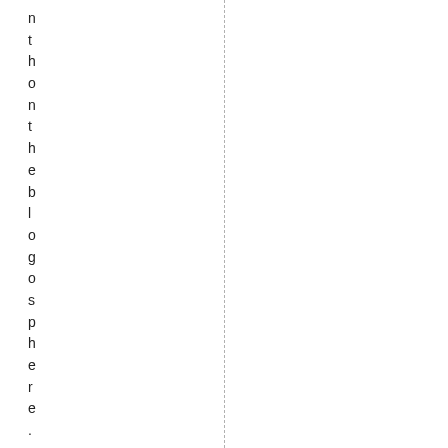n t h o n t h e b l o g o s p h e r e . 

 V A W A w a r e n